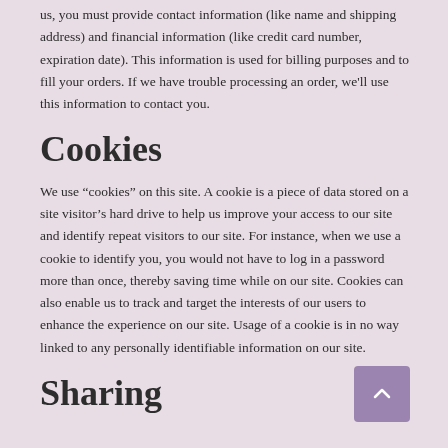us, you must provide contact information (like name and shipping address) and financial information (like credit card number, expiration date). This information is used for billing purposes and to fill your orders. If we have trouble processing an order, we'll use this information to contact you.
Cookies
We use “cookies” on this site. A cookie is a piece of data stored on a site visitor’s hard drive to help us improve your access to our site and identify repeat visitors to our site. For instance, when we use a cookie to identify you, you would not have to log in a password more than once, thereby saving time while on our site. Cookies can also enable us to track and target the interests of our users to enhance the experience on our site. Usage of a cookie is in no way linked to any personally identifiable information on our site.
Sharing